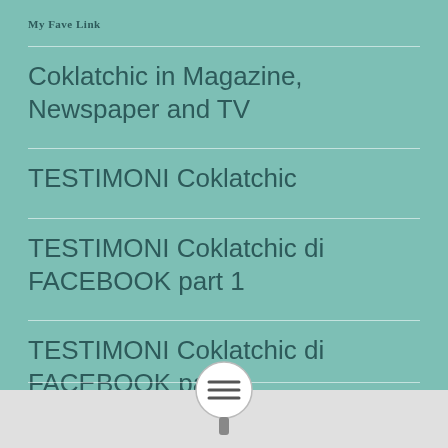My Fave Link
Coklatchic in Magazine, Newspaper and TV
TESTIMONI Coklatchic
TESTIMONI Coklatchic di FACEBOOK part 1
TESTIMONI Coklatchic di FACEBOOK part 2
[Figure (other): Circular menu button with three horizontal lines (hamburger icon) and a magnifier handle below, on a gray footer bar]